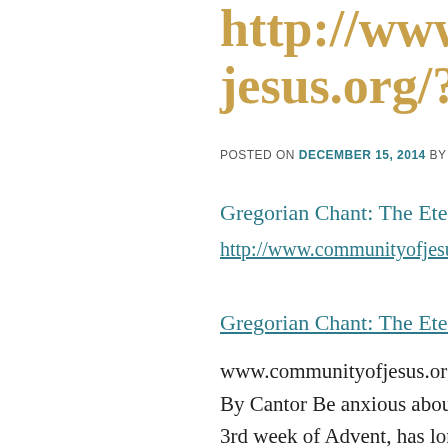http://www.communityofjesus.org/?p=4
POSTED ON DECEMBER 15, 2014 BY PARACL
Gregorian Chant: The Eternal Song
http://www.communityofjesus.org/
Gregorian Chant: The Eternal Song
www.communityofjesus.org
By Cantor Be anxious about nothing
3rd week of Advent, has long been k
#quot;Rejoicing#quot; Sunday. The
(Rejoice in the Lord always), is som
being a boisterous and rousing paea
comparison to last week##039;s in
King. [ 116 more words. ]